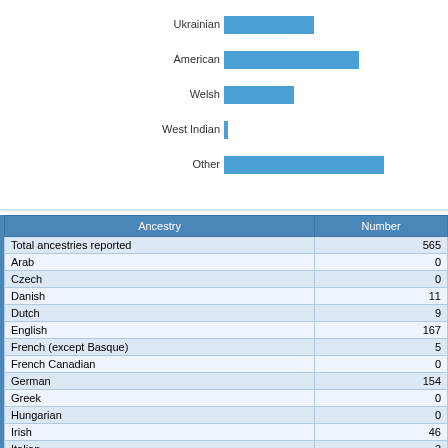[Figure (bar-chart): Ancestry bar chart (partial)]
| Ancestry | Number |
| --- | --- |
| Total ancestries reported | 565 |
| Arab | 0 |
| Czech | 0 |
| Danish | 11 |
| Dutch | 9 |
| English | 167 |
| French (except Basque) | 5 |
| French Canadian | 0 |
| German | 154 |
| Greek | 0 |
| Hungarian | 0 |
| Irish | 46 |
| Italian | 3 |
| Lithuanian | 0 |
| Norwegian | 14 |
| Polish | 9 |
| Portuguese | 0 |
| Russian | 0 |
| Scotch-Irish | 27 |